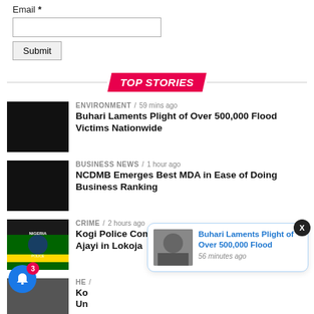Email *
TOP STORIES
ENVIRONMENT / 59 mins ago
Buhari Laments Plight of Over 500,000 Flood Victims Nationwide
BUSINESS NEWS / 1 hour ago
NCDMB Emerges Best MDA in Ease of Doing Business Ranking
CRIME / 2 hours ago
Kogi Police Command Confirms Killing of Kehinde Ajayi in Lokoja
HEADLINE / ...
Ko... Un...
DEFENCE / 2 hours ago
NDA Graduates 100 Re...
[Figure (screenshot): Notification popup: Buhari Laments Plight of Over 500,000 Flood, 56 minutes ago]